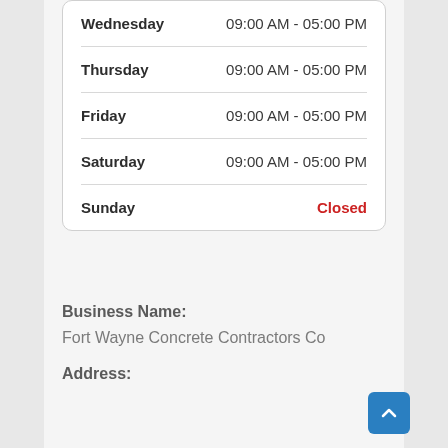| Day | Hours |
| --- | --- |
| Wednesday | 09:00 AM - 05:00 PM |
| Thursday | 09:00 AM - 05:00 PM |
| Friday | 09:00 AM - 05:00 PM |
| Saturday | 09:00 AM - 05:00 PM |
| Sunday | Closed |
Business Name:
Fort Wayne Concrete Contractors Co
Address: